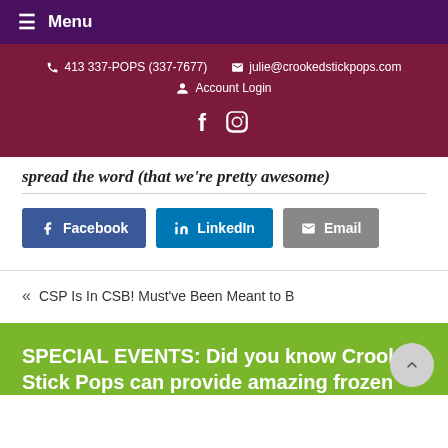≡ Menu
📞 413 337-POPS (337-7677)   ✉ julie@crookedstickpops.com
👤 Account Login
f  🎥
spread the word (that we're pretty awesome)
Facebook  LinkedIn  Email
« CSP Is In CSB! Must've Been Meant to B
SPECIAL EVENTS: Did you know Crooked Stick Pops can provide amazing frozen